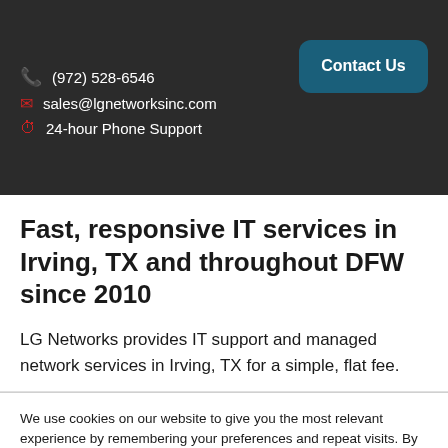(972) 528-6546 | sales@lgnetworksinc.com | 24-hour Phone Support | Contact Us
Fast, responsive IT services in Irving, TX and throughout DFW since 2010
LG Networks provides IT support and managed network services in Irving, TX for a simple, flat fee.
We use cookies on our website to give you the most relevant experience by remembering your preferences and repeat visits. By clicking “Accept All”, you consent to the use of ALL the cookies. However, you may visit "Cookie Settings" to provide a controlled consent.